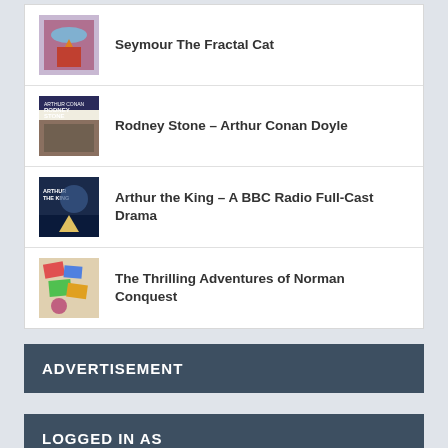Seymour The Fractal Cat
Rodney Stone – Arthur Conan Doyle
Arthur the King – A BBC Radio Full-Cast Drama
The Thrilling Adventures of Norman Conquest
ADVERTISEMENT
LOGGED IN AS